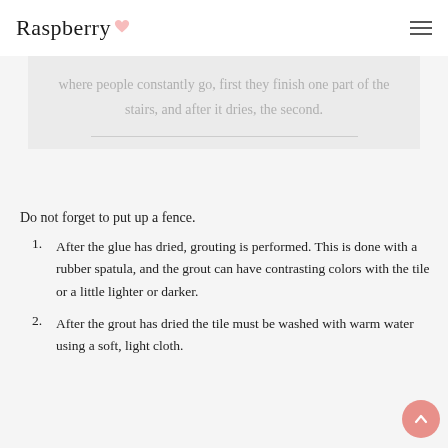Raspberry
where people constantly go, first they finish one part of the stairs, and after it dries, the second.
Do not forget to put up a fence.
After the glue has dried, grouting is performed. This is done with a rubber spatula, and the grout can have contrasting colors with the tile or a little lighter or darker.
After the grout has dried the tile must be washed with warm water using a soft, light cloth.